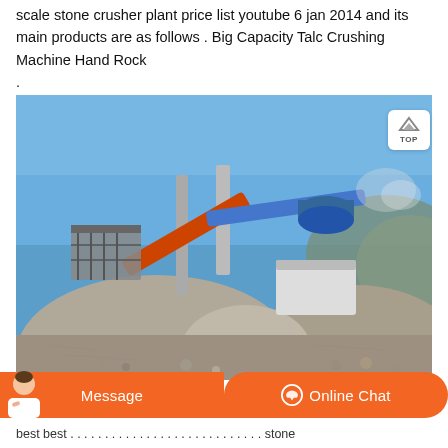scale stone crusher plant price list youtube 6 jan 2014 and its main products are as follows . Big Capacity Talc Crushing Machine Hand Rock .
[Figure (photo): Outdoor photo of a large mobile stone crusher plant with conveyor belts, surrounded by several piles of crushed gravel/stone under a blue sky.]
Message   Online Chat
best best . . . . . . . . . . . . . . . . . . . . . . . . . . . . . stone